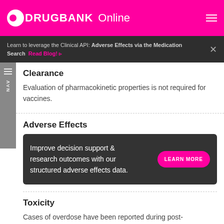DRUGBANK Online
Learn to leverage the Clinical API: Adverse Effects via the Medication Search Read Blog!
Clearance
Evaluation of pharmacokinetic properties is not required for vaccines.
Adverse Effects
[Figure (infographic): Promotional banner: 'Improve decision support & research outcomes with our structured adverse effects data.' with a pink 'LEARN MORE' button]
Toxicity
Cases of overdose have been reported during post-